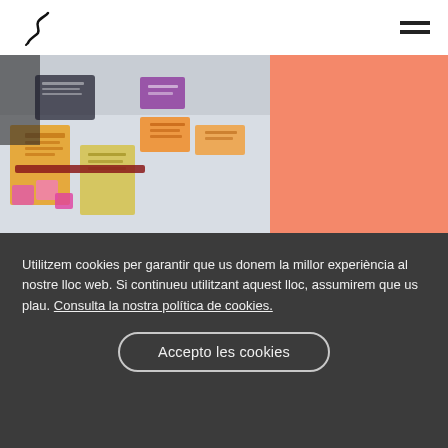[Figure (photo): Workshop or design thinking session with sticky notes and papers on a table, people working collaboratively]
TRAINING
Utilitzem cookies per garantir que us donem la millor experiència al nostre lloc web. Si continueu utilitzant aquest lloc, assumirem que us plau. Consulta la nostra política de cookies.
Accepto les cookies